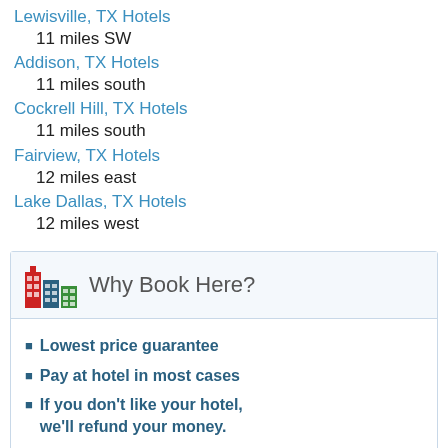Lewisville, TX Hotels
    11 miles SW
Addison, TX Hotels
    11 miles south
Cockrell Hill, TX Hotels
    11 miles south
Fairview, TX Hotels
    12 miles east
Lake Dallas, TX Hotels
    12 miles west
Why Book Here?
Lowest price guarantee
Pay at hotel in most cases
If you don't like your hotel, we'll refund your money.
Cash rewards + hotel points too